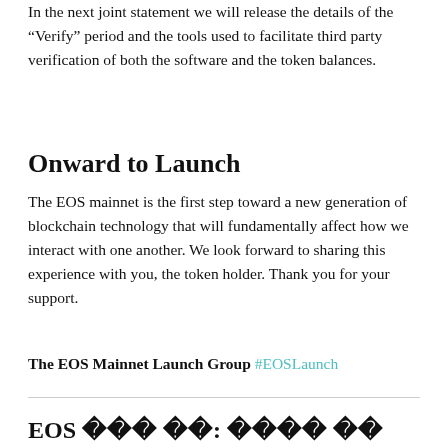In the next joint statement we will release the details of the “Verify” period and the tools used to facilitate third party verification of both the software and the token balances.
Onward to Launch
The EOS mainnet is the first step toward a new generation of blockchain technology that will fundamentally affect how we interact with one another. We look forward to sharing this experience with you, the token holder. Thank you for your support.
The EOS Mainnet Launch Group #EOSLaunch
EOS 메인넷 출시: 블록체인 기술